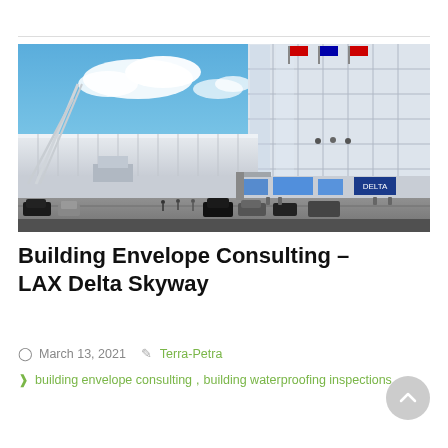[Figure (photo): Architectural rendering of LAX Delta Skyway terminal building exterior, showing modern glass facade with white structural fins, blue sky with clouds, airport road with vehicles and pedestrians, Delta airline signage visible at ground level.]
Building Envelope Consulting – LAX Delta Skyway
March 13, 2021   Terra-Petra
building envelope consulting, building waterproofing inspections